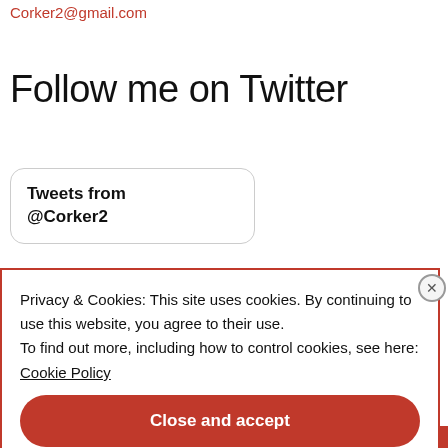Corker2@gmail.com
Follow me on Twitter
Tweets from @Corker2
Privacy & Cookies: This site uses cookies. By continuing to use this website, you agree to their use.
To find out more, including how to control cookies, see here:
Cookie Policy
Close and accept